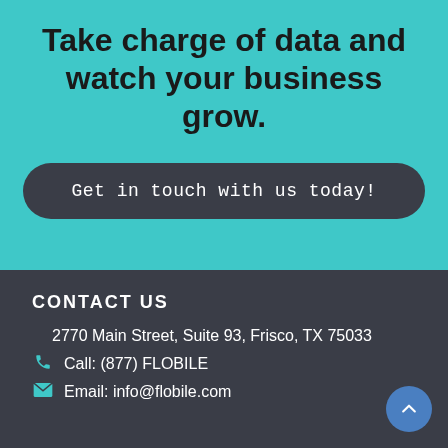Take charge of data and watch your business grow.
Get in touch with us today!
CONTACT US
2770 Main Street, Suite 93, Frisco, TX 75033
Call: (877) FLOBILE
Email: info@flobile.com